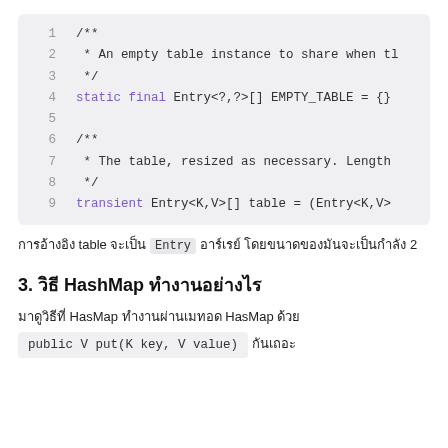[Figure (screenshot): Code block showing Java source lines 1-9 with line numbers, including Javadoc comments and static/transient field declarations for EMPTY_TABLE and table.]
การอ้างอิง table จะเป็น Entry อาร์เรย์ โดยขนาดของมันจะเป็นกำลัง 2
3. วิธี HashMap ทำงานอย่างไร
มาดูวิธีที่ HasMap ทำงานผ่านเมทอด HasMap ด้วย public V put(K key, V value) กันเถอะ